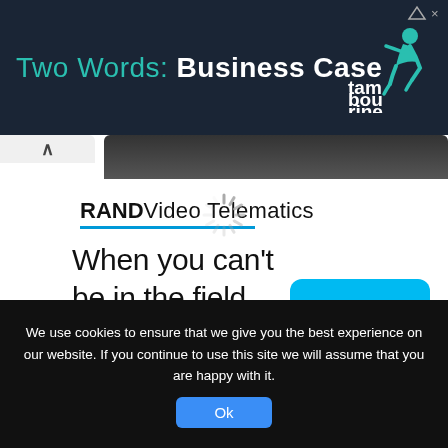[Figure (screenshot): Advertisement banner: dark navy background with text 'Two Words: Business Case' in teal and white, and Tambourine logo on right with small ad icons]
[Figure (screenshot): RAND Video Telematics advertisement card with logo, blue underline, tagline 'When you can't be in the field.' and a cyan 'Learn More' button]
[Figure (infographic): Loading spinner (circular activity indicator) in center of page]
We use cookies to ensure that we give you the best experience on our website. If you continue to use this site we will assume that you are happy with it.